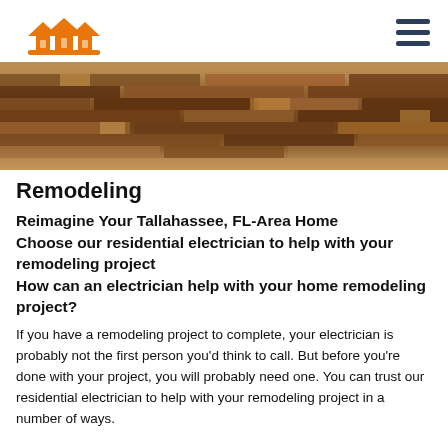[Logo: house icons] [hamburger menu]
[Figure (photo): Photograph of a hardwood floor with brown and tan wood planks viewed from a low angle.]
Remodeling
Reimagine Your Tallahassee, FL-Area Home
Choose our residential electrician to help with your remodeling project
How can an electrician help with your home remodeling project?
If you have a remodeling project to complete, your electrician is probably not the first person you'd think to call. But before you're done with your project, you will probably need one. You can trust our residential electrician to help with your remodeling project in a number of ways.